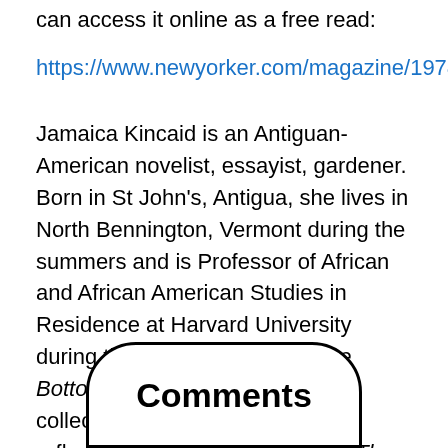can access it online as a free read:
https://www.newyorker.com/magazine/1978/06/26/girl
Jamaica Kincaid is an Antiguan-American novelist, essayist, gardener. Born in St John's, Antigua, she lives in North Bennington, Vermont during the summers and is Professor of African and African American Studies in Residence at Harvard University during the academic year. At the Bottom of the River was her first collection of short stories and reflections. Her novels See Now Then (2013) chronicles the late-life dissolution of a marriage by way of the jilted wife's acerbic ruminations.
[Figure (other): Comments button/badge — large oval shape with 'Comments' text in bold]